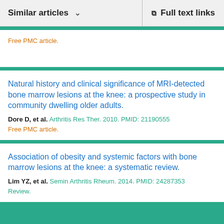Similar articles   Full text links
Free PMC article.
Natural history and clinical significance of MRI-detected bone marrow lesions at the knee: a prospective study in community dwelling older adults.
Dore D, et al. Arthritis Res Ther. 2010. PMID: 21190555
Free PMC article.
Association of obesity and systemic factors with bone marrow lesions at the knee: a systematic review.
Lim YZ, et al. Semin Arthritis Rheum. 2014. PMID: 24287353
Review.